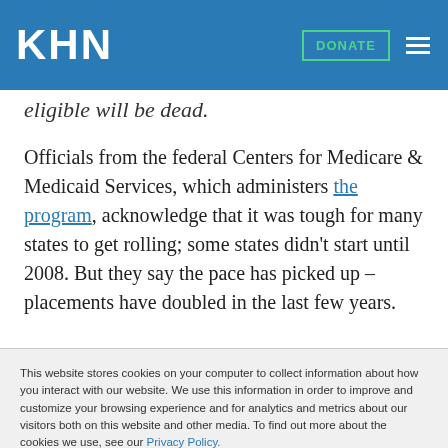KHN — DONATE
eligible will be dead.
Officials from the federal Centers for Medicare & Medicaid Services, which administers the program, acknowledge that it was tough for many states to get rolling; some states didn't start until 2008. But they say the pace has picked up – placements have doubled in the last few years.
This website stores cookies on your computer to collect information about how you interact with our website. We use this information in order to improve and customize your browsing experience and for analytics and metrics about our visitors both on this website and other media. To find out more about the cookies we use, see our Privacy Policy.
Accept